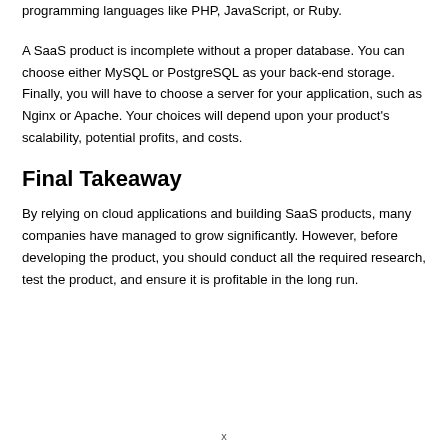programming languages like PHP, JavaScript, or Ruby.
A SaaS product is incomplete without a proper database. You can choose either MySQL or PostgreSQL as your back-end storage. Finally, you will have to choose a server for your application, such as Nginx or Apache. Your choices will depend upon your product's scalability, potential profits, and costs.
Final Takeaway
By relying on cloud applications and building SaaS products, many companies have managed to grow significantly. However, before developing the product, you should conduct all the required research, test the product, and ensure it is profitable in the long run.
x